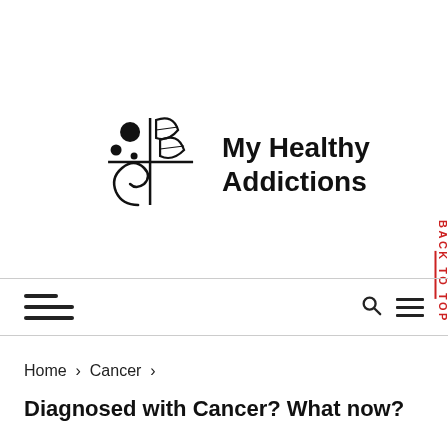[Figure (logo): My Healthy Addictions logo with abstract plant/wellness symbol and bold text]
Navigation bar with hamburger menu, search icon, and menu icon
Home › Cancer ›
Diagnosed with Cancer? What now?